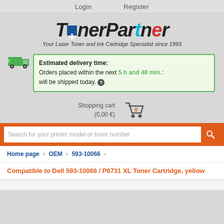Login   Register
[Figure (logo): TonerPartner logo with Finnish flag cross and tagline: Your Laser Toner and Ink Cartridge Specialist since 1993]
Estimated delivery time: Orders placed within the next 5 h and 48 min.: will be shipped today. ?
Shopping cart (0,00 €)
Search for your printer model or toner number
Home page › OEM › 593-10066 ›
Compatible to Dell 593-10066 / P6731 XL Toner Cartridge, yellow